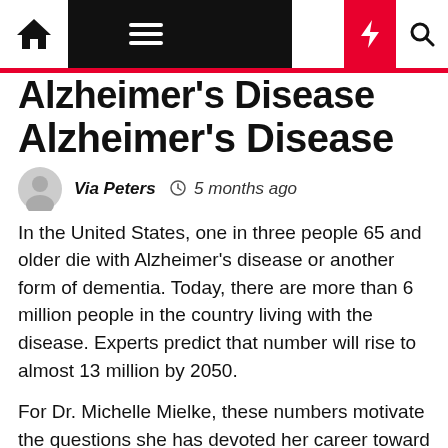Navigation bar with home, menu, moon, bolt, and search icons
Alzheimer's Disease
Via Peters  5 months ago
In the United States, one in three people 65 and older die with Alzheimer's disease or another form of dementia. Today, there are more than 6 million people in the country living with the disease. Experts predict that number will rise to almost 13 million by 2050.
For Dr. Michelle Mielke, these numbers motivate the questions she has devoted her career toward answering. Questions like: Can we predict who will develop Alzheimer's disease (AD) and other dementias? Can we identify biomarkers to predict disease development early? What are the most promising treatment targets?